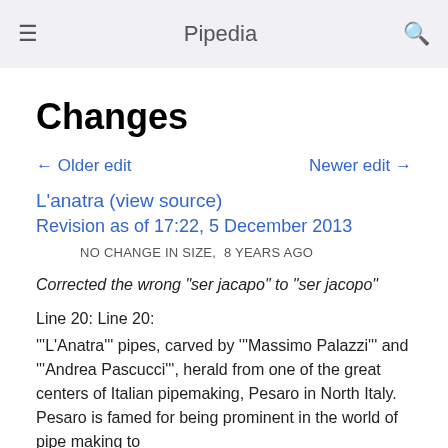Pipedia
Changes
← Older edit   Newer edit →
L'anatra (view source)
Revision as of 17:22, 5 December 2013
NO CHANGE IN SIZE,  8 YEARS AGO
Corrected the wrong "ser jacapo" to "ser jacopo"
Line 20: Line 20:
'''L'Anatra''' pipes, carved by '''Massimo Palazzi''' and '''Andrea Pascucci''', herald from one of the great centers of Italian pipemaking, Pesaro in North Italy. Pesaro is famed for being prominent in the world of pipe making to